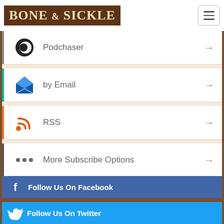BONE & SICKLE
Podchaser
by Email
RSS
More Subscribe Options
Follow Us On Facebook
Follow Us On Twitter